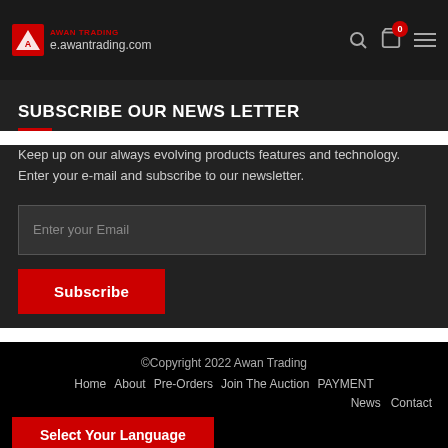AWAN TRADING — e.awantrading.com
SUBSCRIBE OUR NEWS LETTER
Keep up on our always evolving products features and technology. Enter your e-mail and subscribe to our newsletter.
Enter your Email
Subscribe
©Copyright 2022 Awan Trading
Home   About   Pre-Orders   Join The Auction   PAYMENT
News   Contact
Select Your Language